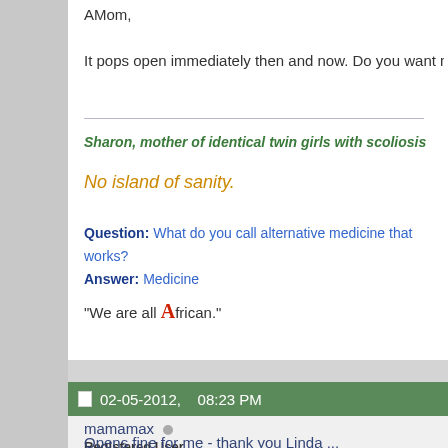AMom,
It pops open immediately then and now. Do you want me to email y
Sharon, mother of identical twin girls with scoliosis
No island of sanity.
Question: What do you call alternative medicine that works? Answer: Medicine
"We are all African."
02-05-2012,    08:23 PM
mamamax  Registered User
Opens fine for me - thank you Linda ...